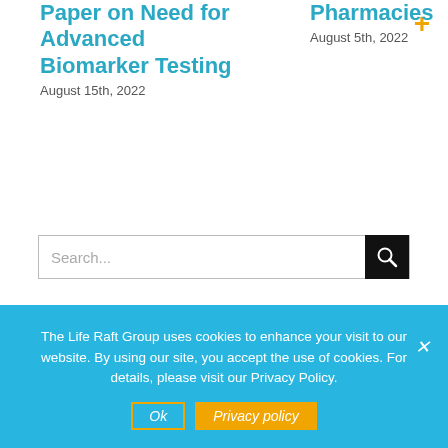Paper on Need for Advanced Biomarker Testing
August 15th, 2022
Pharmacies
August 5th, 2022
Search...
JOIN THE LIFE RAFT GROUP
The Life Raft Group uses cookies to enhance your visit to our website. By using our site, you accept the use of cookies. For details, please visit our Privacy Policy.
Ok
Privacy policy